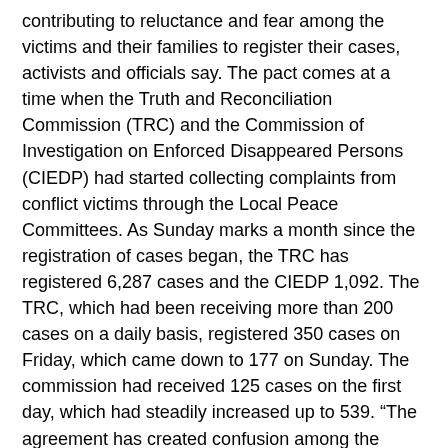contributing to reluctance and fear among the victims and their families to register their cases, activists and officials say. The pact comes at a time when the Truth and Reconciliation Commission (TRC) and the Commission of Investigation on Enforced Disappeared Persons (CIEDP) had started collecting complaints from conflict victims through the Local Peace Committees. As Sunday marks a month since the registration of cases began, the TRC has registered 6,287 cases and the CIEDP 1,092. The TRC, which had been receiving more than 200 cases on a daily basis, registered 350 cases on Friday, which came down to 177 on Sunday. The commission had received 125 cases on the first day, which had steadily increased up to 539. “The agreement has created confusion among the conflict victims that all the perpetrators would be pardoned,” said Surya Kiran Gurung, the TRC chairperson. “It has created an additional burden on us to educate people on the transitional justice process.” With the registration of 1,092 out of 1,522 documented cases of disappearance at the